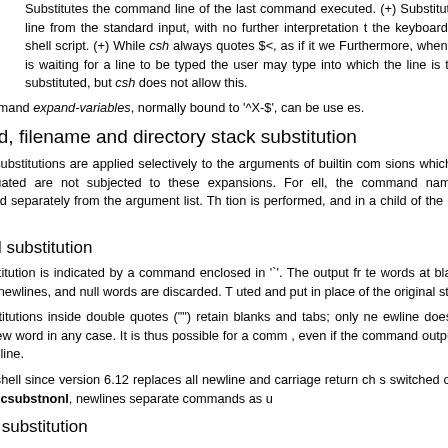Substitutes the command line of the last command executed. (+) Substitutes a line from the standard input, with no further interpretation the keyboard in a shell script. (+) While csh always quotes $<, as if it we Furthermore, when tcsh is waiting for a line to be typed the user may type into which the line is to be substituted, but csh does not allow this.
ditor command expand-variables, normally bound to '^X-$', can be use es.
mmand, filename and directory stack substitution
maining substitutions are applied selectively to the arguments of builtin com sions which are not evaluated are not subjected to these expansions. For ell, the command name is substituted separately from the argument list. Th tion is performed, and in a child of the main shell.
mmand substitution
and substitution is indicated by a command enclosed in '`'. The output fr te words at blanks, tabs and newlines, and null words are discarded. T uted and put in place of the original string.
and substitutions inside double quotes (""") retain blanks and tabs; only ne ewline does not force a new word in any case. It is thus possible for a comm , even if the command outputs a complete line.
ault, the shell since version 6.12 replaces all newline and carriage return ch s switched off by unsetting csubstnonl, newlines separate commands as u
hname substitution